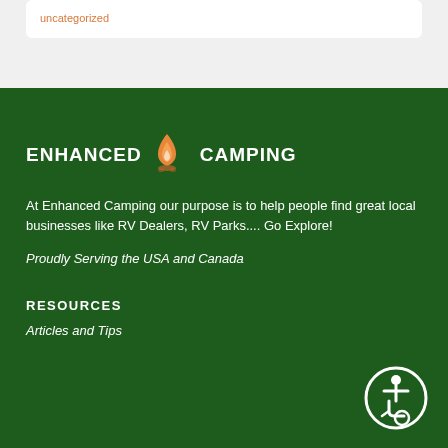uncategorized
[Figure (logo): Enhanced Camping logo with flame icon, white text on dark green background]
At Enhanced Camping our purpose is to help people find great local businesses like RV Dealers, RV Parks.... Go Explore!
Proudly Serving the USA and Canada
RESOURCES
Articles and Tips
[Figure (illustration): Accessibility/wheelchair user icon in a circle]